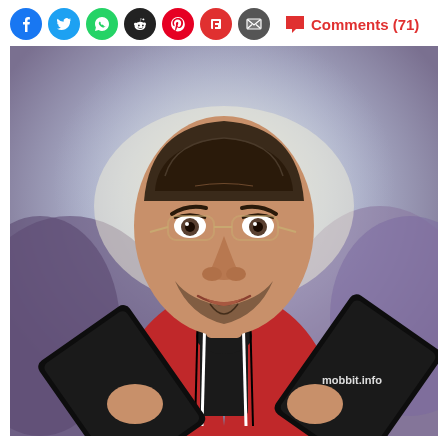[Figure (infographic): Social sharing icon bar: Facebook (blue circle), Twitter (light blue circle), WhatsApp (green circle), Reddit (dark circle), Pinterest (red circle), Flipboard (red circle), Email (grey circle), then a red comment bubble icon with text 'Comments (71)']
[Figure (illustration): Caricature illustration of Steve Jobs holding two black tablets/iPads, wearing a black turtleneck and red jacket, with a dramatic cloudy sky background. Watermark reads 'mobbit.info' in bottom right.]